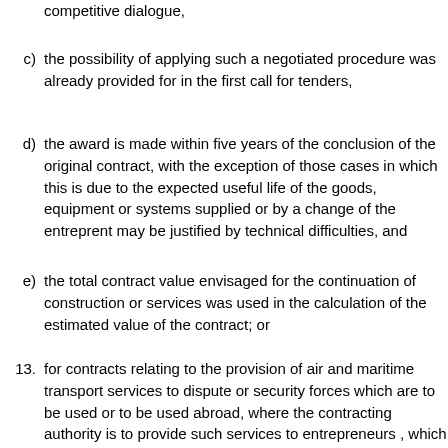competitive dialogue,
c) the possibility of applying such a negotiated procedure was already provided for in the first call for tenders,
d) the award is made within five years of the conclusion of the original contract, with the exception of those cases in which this is due to the expected useful life of the goods, equipment or systems supplied or by a change of the entreprent may be justified by technical difficulties, and
e) the total contract value envisaged for the continuation of construction or services was used in the calculation of the estimated value of the contract; or
13. for contracts relating to the provision of air and maritime transport services to dispute or security forces which are to be used or to be used abroad, where the contracting authority is to provide such services to entrepreneurs , which guarantee the validity of their tenders only for such a short period of time that the time limit for the non-open procedure with prior notice or the negotiated procedure